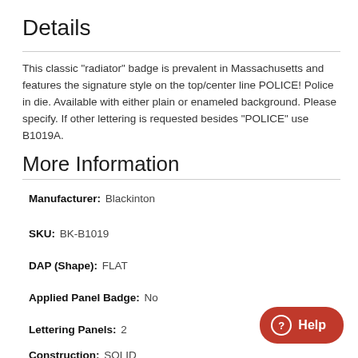Details
This classic "radiator" badge is prevalent in Massachusetts and features the signature style on the top/center line POLICE! Police in die. Available with either plain or enameled background. Please specify. If other lettering is requested besides "POLICE" use B1019A.
More Information
Manufacturer: Blackinton
SKU: BK-B1019
DAP (Shape): FLAT
Applied Panel Badge: No
Lettering Panels: 2
Construction: SOLID